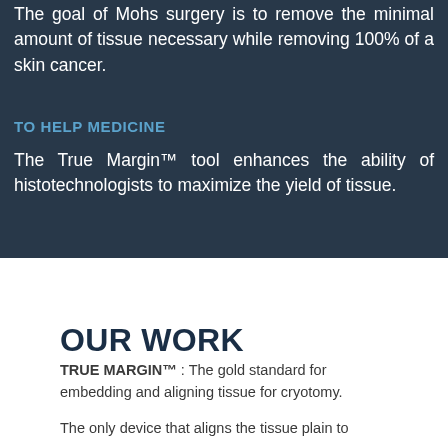The goal of Mohs surgery is to remove the minimal amount of tissue necessary while removing 100% of a skin cancer.
TO HELP MEDICINE
The True Margin™ tool enhances the ability of histotechnologists to maximize the yield of tissue.
[Figure (photo): Dark background photo of medical/laboratory equipment, used as hero section background]
OUR WORK
TRUE MARGIN™ : The gold standard for embedding and aligning tissue for cryotomy.
The only device that aligns the tissue plain to